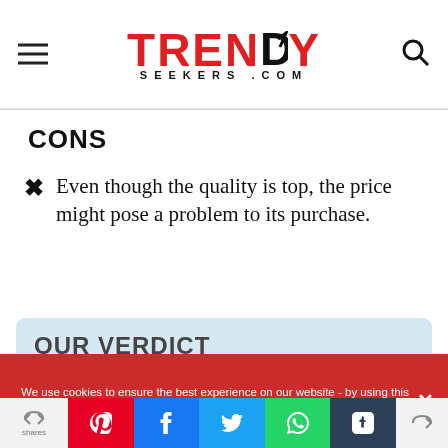TRENDY SEEKERS .COM
CONS
Even though the quality is top, the price might pose a problem to its purchase.
OUR VERDICT
For the best of scents and an irresistible
We use cookies to ensure the best experience on our website - by using this site or closing this message you're agreeing to our cookies policy.